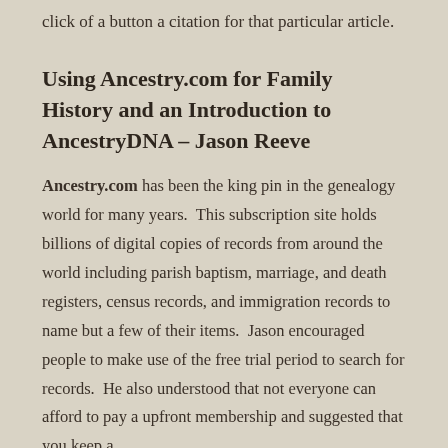click of a button a citation for that particular article.
Using Ancestry.com for Family History and an Introduction to AncestryDNA – Jason Reeve
Ancestry.com has been the king pin in the genealogy world for many years.  This subscription site holds billions of digital copies of records from around the world including parish baptism, marriage, and death registers, census records, and immigration records to name but a few of their items.  Jason encouraged people to make use of the free trial period to search for records.  He also understood that not everyone can afford to pay a upfront membership and suggested that you keep a